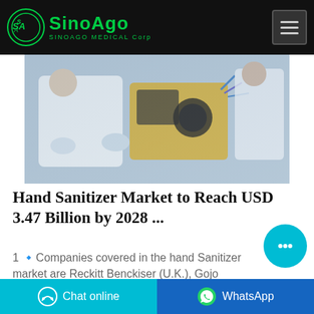SINOAGO MEDICAL Corp
[Figure (photo): Medical workers in white protective suits working with laboratory equipment]
Hand Sanitizer Market to Reach USD 3.47 Billion by 2028 ...
1 🔹Companies covered in the hand Sanitizer market are Reckitt Benckiser (U.K.), Gojo Industry Inc. (U.S.), Henkel AG & Company (Germany), Himalaya